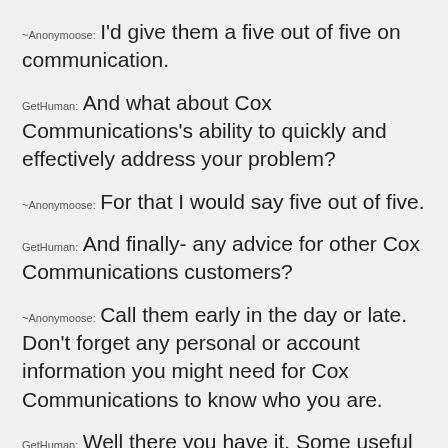~Anonymoose: I'd give them a five out of five on communication.
GetHuman: And what about Cox Communications's ability to quickly and effectively address your problem?
~Anonymoose: For that I would say five out of five.
GetHuman: And finally- any advice for other Cox Communications customers?
~Anonymoose: Call them early in the day or late. Don't forget any personal or account information you might need for Cox Communications to know who you are.
GetHuman: Well there you have it. Some useful feedback and words from ~Anonymoose taken from his Cox Communications customer service problem that occurred on November 20th, 2017.